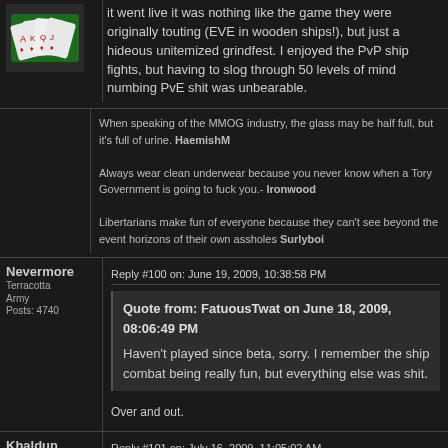it went live it was nothing like the game they were originally touting (EVE in wooden ships!), but just a hideous unitemized grindfest. I enjoyed the PvP ship fights, but having to slog through 50 levels of mind numbing PvE shit was unbearable.
When speaking of the MMOG industry, the glass may be half full, but it's full of urine. HaemishM
Always wear clean underwear because you never know when a Tory Government is going to fuck you.- Ironwood
Libertarians make fun of everyone because they can't see beyond the event horizons of their own assholes Surlyboi
Nevermore
Terracotta Army
Posts: 4740
Reply #100 on: June 19, 2009, 10:38:58 PM
Quote from: FatuousTwat on June 18, 2009, 08:06:49 PM
Haven't played since beta, sorry. I remember the ship combat being really fun, but everything else was shit.
Over and out.
Khaldun
Terracotta
Reply #101 on: July 16, 2009, 11:05:02 AM